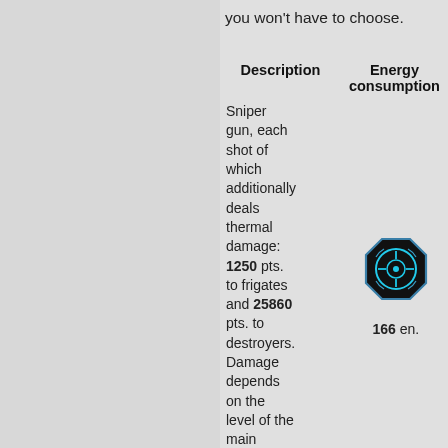you won't have to choose.
| Description | Energy consumption |
| --- | --- |
| Sniper gun, each shot of which additionally deals thermal damage: 1250 pts. to frigates and 25860 pts. to destroyers. Damage depends on the level of the main weapon | 166 en. |